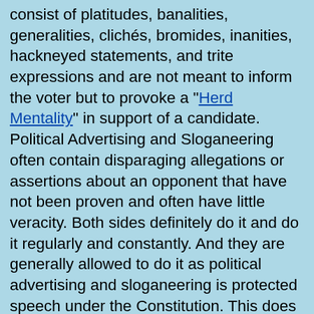consist of platitudes, banalities, generalities, clichés, bromides, inanities, hackneyed statements, and trite expressions and are not meant to inform the voter but to provoke a "Herd Mentality" in support of a candidate. Political Advertising and Sloganeering often contain disparaging allegations or assertions about an opponent that have not been proven and often have little veracity. Both sides definitely do it and do it regularly and constantly. And they are generally allowed to do it as political advertising and sloganeering is protected speech under the Constitution. This does not make it moral or ethical, only legal. And as I have written in my Article, "The Law is Not All", we need more than legality for "A Civil Society". This Political Advertising and Sloganeering also increases the incivility of our society, and it certainly is not helpful to the political process or the body politic after an election.